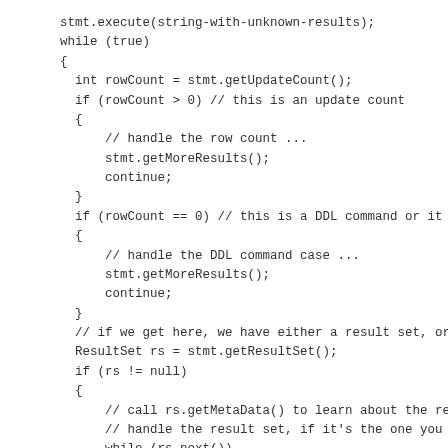stmt.execute(string-with-unknown-results);
while (true)
{
  int rowCount = stmt.getUpdateCount();
  if (rowCount > 0) // this is an update count
  {
      // handle the row count ...
      stmt.getMoreResults();
      continue;
  }
  if (rowCount == 0) // this is a DDL command or it
  {
      // handle the DDL command case ...
      stmt.getMoreResults();
      continue;
  }
  // if we get here, we have either a result set, or
  ResultSet rs = stmt.getResultSet();
  if (rs != null)
  {
      // call rs.getMetaData() to learn about the re
      // handle the result set, if it's the one you
      while (rs.next())
      {
          // process a row from this result set ...
      }
  }